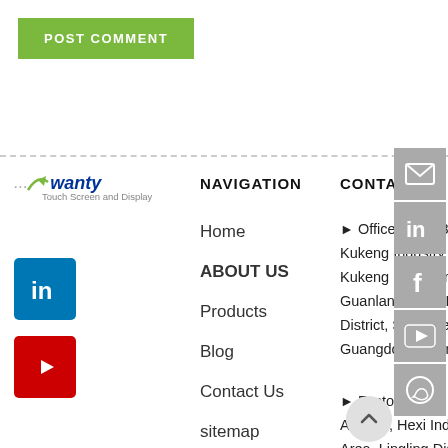POST COMMENT
[Figure (logo): Wanty logo - Touch Screen and Display brand]
[Figure (logo): LinkedIn social icon - blue square]
[Figure (logo): YouTube social icon - red square]
NAVIGATION
Home
ABOUT US
Products
Blog
Contact Us
sitemap
CONTACT US
Office: Floor 3, Jin Kukeng Industry Area, Kukeng Community, Guanlan Street, Longh District, Shenzhen, Guangdong, China
Factory: No.1 Industry Avenue, Hexi Industry Area, Lingling Distric...
[Figure (infographic): Right sidebar with email, LinkedIn, Facebook, YouTube, WhatsApp icons]
[Figure (other): Scroll to top button - circle with up arrow]